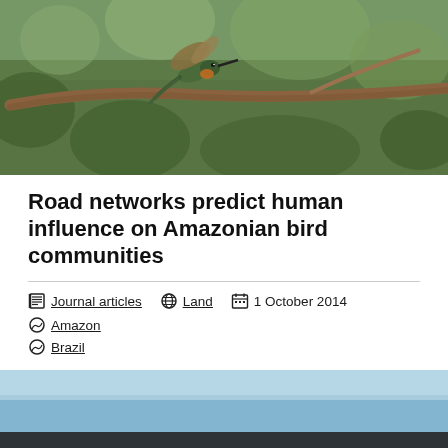[Figure (photo): A hummingbird perched on and flying near a thin branch, with blurred green foliage background]
Road networks predict human influence on Amazonian bird communities
Journal articles  Land  1 October 2014  Amazon  Brazil
[Figure (photo): Partial view of a landscape with sky, likely Amazonian scenery]
We use cookies to personalize content, to provide social media features and to analyse our traffic. We also share information about your use of our site with our social media and analytics partners. By clicking the close button, you do not